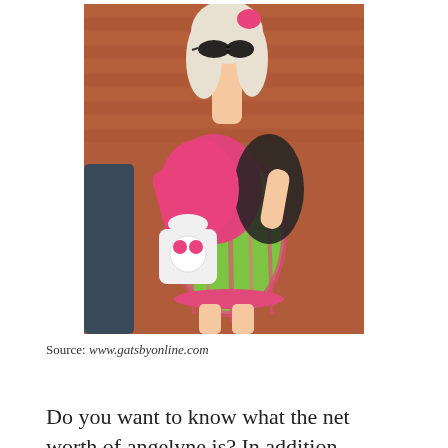[Figure (photo): A woman with platinum blonde hair and sunglasses wearing a bright pink jacket over a colorful green and pink patterned mini dress, carrying a Hello Kitty handbag, walking in front of a brick wall.]
Source: www.gatsbyonline.com
Do you want to know what the net worth of angelyne is? In addition to being an actress, angelyne also recorded three studio